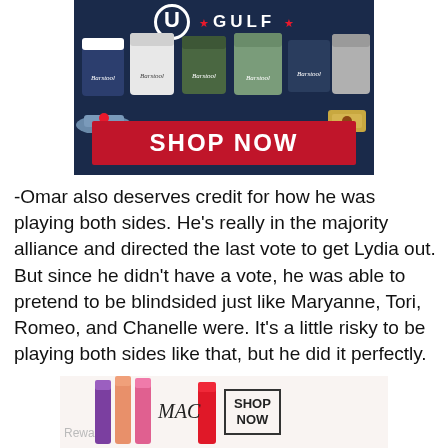[Figure (advertisement): Barstool Golf merchandise advertisement with hoodies, t-shirts, and caps on a dark navy background with a red 'SHOP NOW' button]
-Omar also deserves credit for how he was playing both sides. He's really in the majority alliance and directed the last vote to get Lydia out. But since he didn't have a vote, he was able to pretend to be blindsided just like Maryanne, Tori, Romeo, and Chanelle were. It's a little risky to be playing both sides like that, but he did it perfectly.
[Figure (advertisement): MAC cosmetics advertisement showing lipsticks in purple, pink, and red shades with MAC logo and 'SHOP NOW' button]